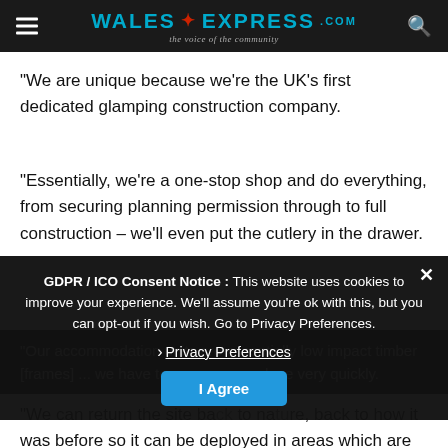Wales Express – the voice of the community
“We are unique because we’re the UK’s first dedicated glamping construction company.
“Essentially, we’re a one-stop shop and do everything, from securing planning permission through to full construction – we’ll even put the cutlery in the drawer.
“Our accommodation units are essentially low impact timber [framed] ... we have to remove or ... done very quickly.
“We can return the site ba[ck to natu]re, back to how it was before so it can be deployed in areas which are sensitive and
GDPR / ICO Consent Notice : This website uses cookies to improve your experience. We’ll assume you’re ok with this, but you can opt-out if you wish. Go to Privacy Preferences.